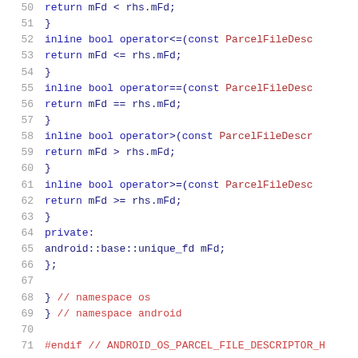Source code listing lines 50-71, C++ header file with comparison operators, private member, namespace closings, and endif directive.